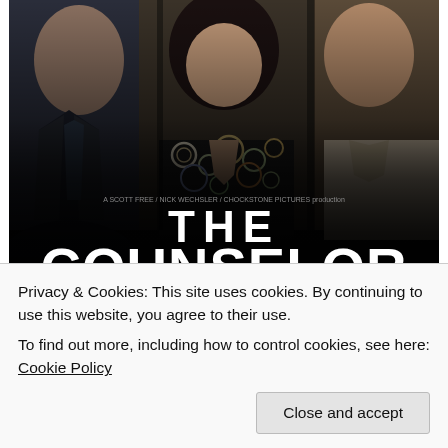[Figure (photo): Movie poster for 'The Counselor' showing multiple actors in the upper portion, with large bold white text 'THE COUNSELOR' in the lower half, credits text, and 'OCTOBER 25' release date. Rated R.]
Privacy & Cookies: This site uses cookies. By continuing to use this website, you agree to their use.
To find out more, including how to control cookies, see here: Cookie Policy
Close and accept